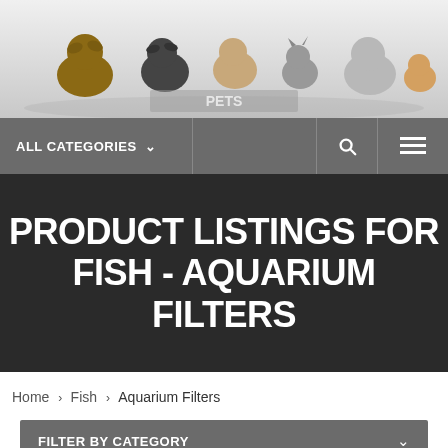[Figure (photo): Header photo strip showing various pets including dogs and cats lined up together on white background]
ALL CATEGORIES ∨  [search icon]  [menu icon]
PRODUCT LISTINGS FOR FISH - AQUARIUM FILTERS
Home > Fish > Aquarium Filters
FILTER BY CATEGORY